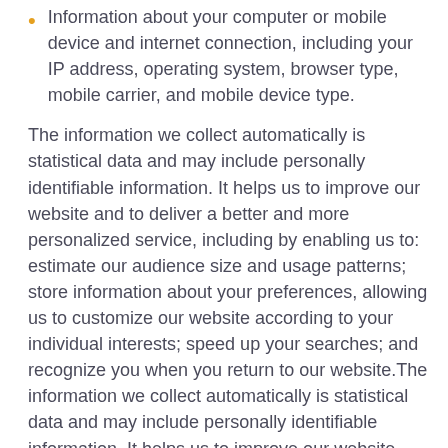Information about your computer or mobile device and internet connection, including your IP address, operating system, browser type, mobile carrier, and mobile device type.
The information we collect automatically is statistical data and may include personally identifiable information. It helps us to improve our website and to deliver a better and more personalized service, including by enabling us to: estimate our audience size and usage patterns; store information about your preferences, allowing us to customize our website according to your individual interests; speed up your searches; and recognize you when you return to our website.The information we collect automatically is statistical data and may include personally identifiable information. It helps us to improve our website and to deliver a better and more personalized service,